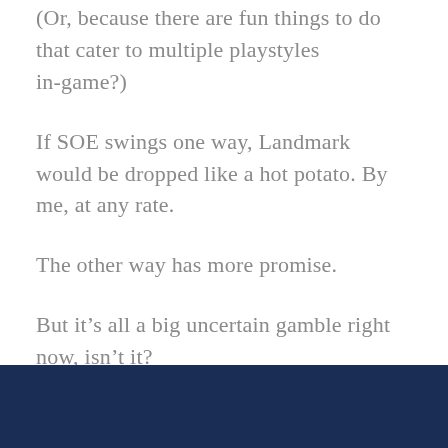(Or, because there are fun things to do that cater to multiple playstyles in-game?)
If SOE swings one way, Landmark would be dropped like a hot potato. By me, at any rate.
The other way has more promise.
But it’s all a big uncertain gamble right now, isn’t it?